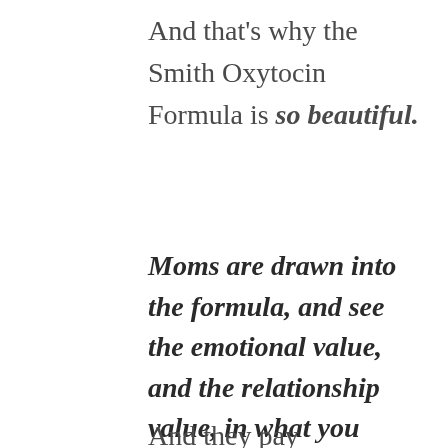And that's why the Smith Oxytocin Formula is so beautiful.
Moms are drawn into the formula, and see the emotional value, and the relationship value, in what you offer.
And they pay